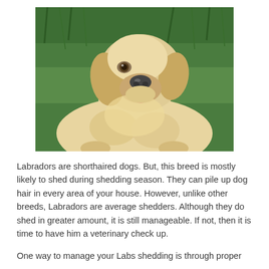[Figure (photo): A golden Labrador/Retriever dog lying on green grass, looking upward with its mouth slightly open, photographed outdoors.]
Labradors are shorthaired dogs. But, this breed is mostly likely to shed during shedding season. They can pile up dog hair in every area of your house. However, unlike other breeds, Labradors are average shedders. Although they do shed in greater amount, it is still manageable. If not, then it is time to have him a veterinary check up.
One way to manage your Labs shedding is through proper